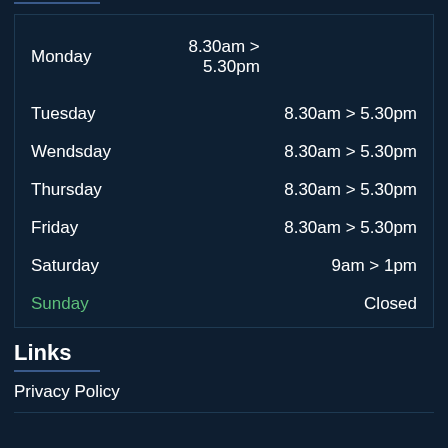| Day | Hours |
| --- | --- |
| Monday | 8.30am > 5.30pm |
| Tuesday | 8.30am > 5.30pm |
| Wendsday | 8.30am > 5.30pm |
| Thursday | 8.30am > 5.30pm |
| Friday | 8.30am > 5.30pm |
| Saturday | 9am > 1pm |
| Sunday | Closed |
Links
Privacy Policy